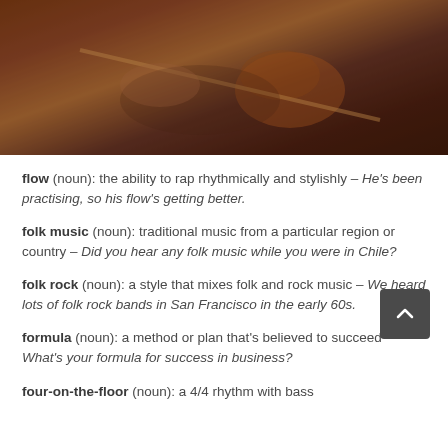[Figure (photo): Close-up photo of hands playing a violin/fiddle with a bow, warm reddish-brown tones]
flow (noun): the ability to rap rhythmically and stylishly – He's been practising, so his flow's getting better.
folk music (noun): traditional music from a particular region or country – Did you hear any folk music while you were in Chile?
folk rock (noun): a style that mixes folk and rock music – We heard lots of folk rock bands in San Francisco in the early 60s.
formula (noun): a method or plan that's believed to succeed – What's your formula for success in business?
four-on-the-floor (noun): a 4/4 rhythm with bass